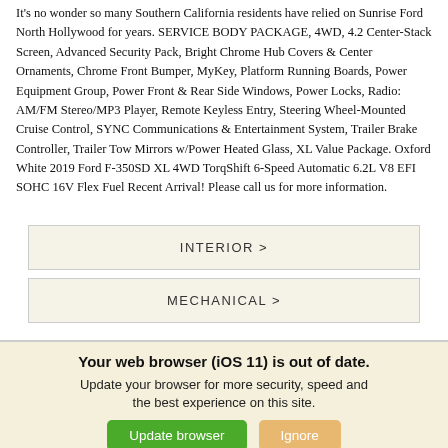It's no wonder so many Southern California residents have relied on Sunrise Ford North Hollywood for years. SERVICE BODY PACKAGE, 4WD, 4.2 Center-Stack Screen, Advanced Security Pack, Bright Chrome Hub Covers & Center Ornaments, Chrome Front Bumper, MyKey, Platform Running Boards, Power Equipment Group, Power Front & Rear Side Windows, Power Locks, Radio: AM/FM Stereo/MP3 Player, Remote Keyless Entry, Steering Wheel-Mounted Cruise Control, SYNC Communications & Entertainment System, Trailer Brake Controller, Trailer Tow Mirrors w/Power Heated Glass, XL Value Package. Oxford White 2019 Ford F-350SD XL 4WD TorqShift 6-Speed Automatic 6.2L V8 EFI SOHC 16V Flex Fuel Recent Arrival! Please call us for more information.
INTERIOR >
MECHANICAL >
Your web browser (iOS 11) is out of date. Update your browser for more security, speed and the best experience on this site.